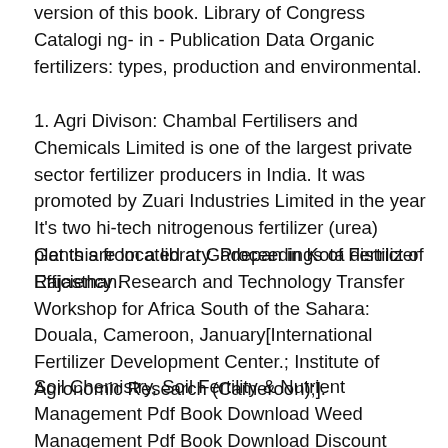version of this book. Library of Congress Cataloging-in-Publication Data Organic fertilizers: types, production and environmental.
1. Agri Divison: Chambal Fertilisers and Chemicals Limited is one of the largest private sector fertilizer producers in India. It was promoted by Zuari Industries Limited in the year It's two hi-tech nitrogenous fertilizer (urea) plants are located at Gadepan in Kota district of Rajasthan.
Get this from a library. Proceedings of Fertilizer Efficiency Research and Technology Transfer Workshop for Africa South of the Sahara: Douala, Cameroon, January[International Fertilizer Development Center.; Institute of Agronomic Research (Cameroon);].
Soil Chemistry, Soil Fertility & Nutrient Management Pdf Book Download Weed Management Pdf Book Download Discount 80% IBPS SO Agriculutral Officer previous year solved papers ,, (6 years). Fertilizer source comparisons